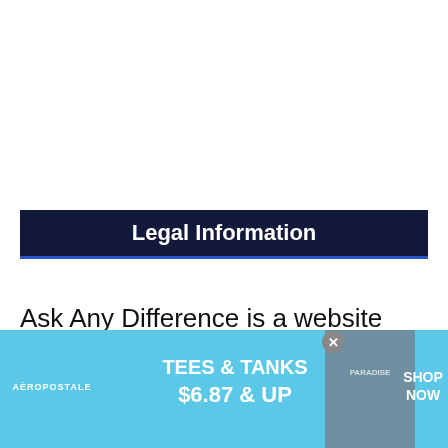Legal Information
Ask Any Difference is a website that is owned and operated by Indragni Solutions.
[Figure (other): Aeropostale advertisement banner: TEES & TANKS $6.87 & UP, SHOP NOW]